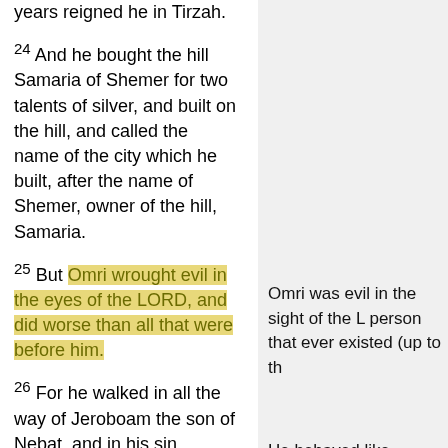years reigned he in Tirzah.
24 And he bought the hill Samaria of Shemer for two talents of silver, and built on the hill, and called the name of the city which he built, after the name of Shemer, owner of the hill, Samaria.
25 But Omri wrought evil in the eyes of the LORD, and did worse than all that were before him.
Omri was evil in the sight of the L person that ever existed (up to th
26 For he walked in all the way of Jeroboam the son of Nebat, and in his sin wherewith he made Israel to sin, to provoke the LORD God of Israel to anger with their vanities.
He behaved like Jeroboam, made God angry.